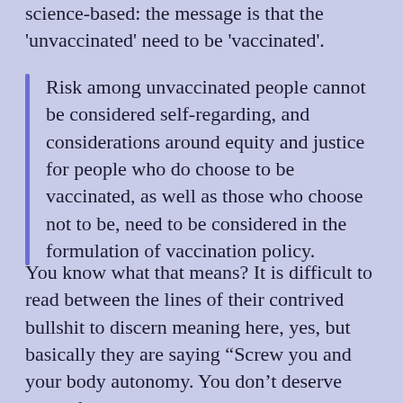science-based: the message is that the 'unvaccinated' need to be 'vaccinated'.
Risk among unvaccinated people cannot be considered self-regarding, and considerations around equity and justice for people who do choose to be vaccinated, as well as those who choose not to be, need to be considered in the formulation of vaccination policy.
You know what that means? It is difficult to read between the lines of their contrived bullshit to discern meaning here, yes, but basically they are saying “Screw you and your body autonomy. You don’t deserve rights for choosing what you chose and this should actually be written into law.”